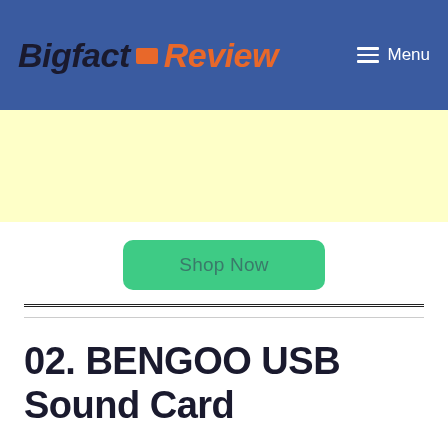Bigfact Review  Menu
[Figure (other): Yellow advertisement banner area]
Shop Now
02. BENGOO USB Sound Card